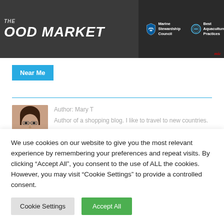[Figure (photo): Photo showing a seafood market counter with 'Good Market' signage and Marine Stewardship Council and Best Aquaculture Practices certification logos on a dark background. A 'mic' watermark is visible in the lower right.]
Near Me
Author: Mary T
Author of a shopping blog. I like to travel to new countries.
We use cookies on our website to give you the most relevant experience by remembering your preferences and repeat visits. By clicking “Accept All”, you consent to the use of ALL the cookies. However, you may visit "Cookie Settings" to provide a controlled consent.
Cookie Settings
Accept All